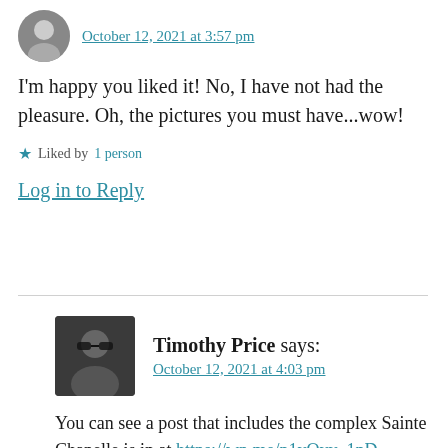October 12, 2021 at 3:57 pm
I'm happy you liked it! No, I have not had the pleasure. Oh, the pictures you must have...wow!
Liked by 1 person
Log in to Reply
Timothy Price says:
October 12, 2021 at 4:03 pm
You can see a post that includes the complex Sainte Chapelle is in at https://wp.me/p1yQyy-1nD